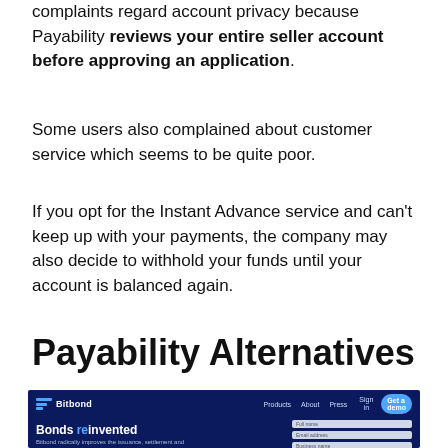complaints regard account privacy because Payability reviews your entire seller account before approving an application.
Some users also complained about customer service which seems to be quite poor.
If you opt for the Instant Advance service and can't keep up with your payments, the company may also decide to withhold your funds until your account is balanced again.
Payability Alternatives
[Figure (screenshot): Screenshot of Bitbond website homepage showing navy blue navigation bar with Bitbond logo, Products, About, Press links, Sign in and Get a demo button, and hero section with 'Bonds reinvented' headline (with 're' in blue), subtext about blockchain technology, and a form with Full name, Email address, Business name fields.]